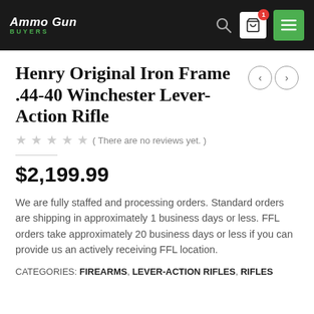Ammo Gun Buyers
Henry Original Iron Frame .44-40 Winchester Lever-Action Rifle
( There are no reviews yet. )
$2,199.99
We are fully staffed and processing orders. Standard orders are shipping in approximately 1 business days or less. FFL orders take approximately 20 business days or less if you can provide us an actively receiving FFL location.
CATEGORIES: FIREARMS, LEVER-ACTION RIFLES, RIFLES